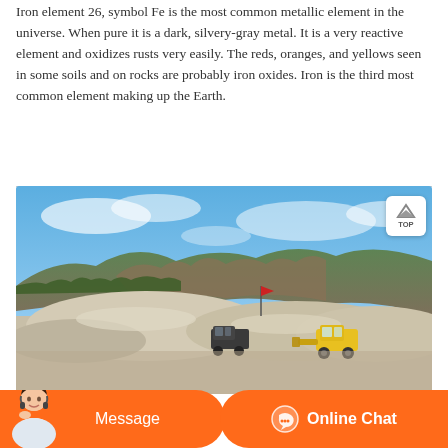Iron element 26, symbol Fe is the most common metallic element in the universe. When pure it is a dark, silvery-gray metal. It is a very reactive element and oxidizes rusts very easily. The reds, oranges, and yellows seen in some soils and on rocks are probably iron oxides. Iron is the third most common element making up the Earth.
[Figure (photo): Outdoor quarry or mining site with large mounds of gravel/crushed stone, a yellow front-loader/bulldozer operating among the piles, and rocky hills with sparse vegetation in the background under a blue sky with clouds.]
Message
Online Chat